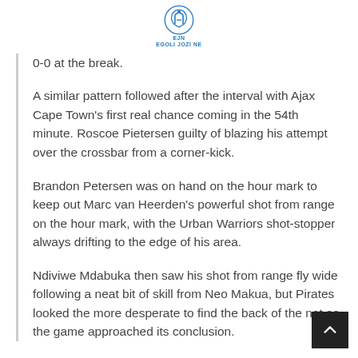EJN EGOLI JOZI NE
0-0 at the break.
A similar pattern followed after the interval with Ajax Cape Town's first real chance coming in the 54th minute. Roscoe Pietersen guilty of blazing his attempt over the crossbar from a corner-kick.
Brandon Petersen was on hand on the hour mark to keep out Marc van Heerden's powerful shot from range on the hour mark, with the Urban Warriors shot-stopper always drifting to the edge of his area.
Ndiviwe Mdabuka then saw his shot from range fly wide following a neat bit of skill from Neo Makua, but Pirates looked the more desperate to find the back of the net as the game approached its conclusion.